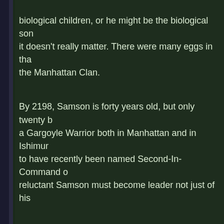biological children, or he might be the biological son it doesn't really matter. There were many eggs in tha the Manhattan Clan.
By 2198, Samson is forty years old, but only twenty b a Gargoyle Warrior both in Manhattan and in Ishimur to have recently been named Second-In-Command o reluctant Samson must become leader not just of his
DELILAH - Delilah of the Labyrinth Clan is a half-bre Human as well. Her ancestors include her namesake cloned by combining the DNA of ELISA MAZA with th part of both races has left Delilah feeling like she's no of her "heritage", humans seem to react with fear and never been confident that the gargoyles she was rais this has made her tough on the outside, but desperat Nevertheless, she's a fierce young Gargoyle Warrior Samson makes her his Second in the Resistance.
ZAFIRO - Zafiro of the Mayan Clan hails from the rai descendent of Obsidiana and the Zafiro from "The G reptilian features and skin the color of sapphires. Fro